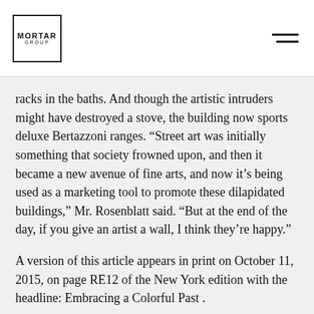MORTAR GROUP
racks in the baths. And though the artistic intruders might have destroyed a stove, the building now sports deluxe Bertazzoni ranges. “Street art was initially something that society frowned upon, and then it became a new avenue of fine arts, and now it’s being used as a marketing tool to promote these dilapidated buildings,” Mr. Rosenblatt said. “But at the end of the day, if you give an artist a wall, I think they’re happy.”
A version of this article appears in print on October 11, 2015, on page RE12 of the New York edition with the headline: Embracing a Colorful Past .
Original Article ↗